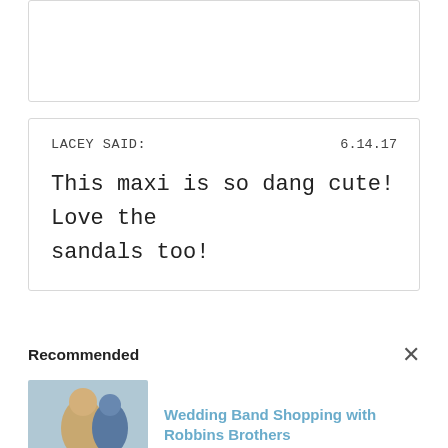[Figure (other): Partial card element at top of page (cropped)]
LACEY SAID:

This maxi is so dang cute! Love the sandals too!

6.14.17
Recommended
[Figure (photo): Thumbnail image of couple looking at wedding bands]
Wedding Band Shopping with Robbins Brothers
[Figure (photo): Thumbnail image of woman in neutral lace dress outdoors]
Start of Summer: Neutral Lace Dress